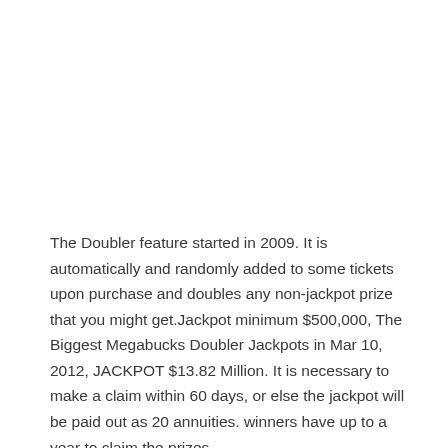The Doubler feature started in 2009. It is automatically and randomly added to some tickets upon purchase and doubles any non-jackpot prize that you might get.Jackpot minimum $500,000, The Biggest Megabucks Doubler Jackpots in Mar 10, 2012, JACKPOT $13.82 Million. It is necessary to make a claim within 60 days, or else the jackpot will be paid out as 20 annuities. winners have up to a year to claim the prizes.